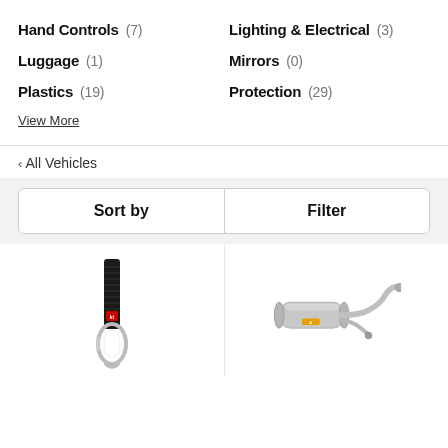Hand Controls (7)
Lighting & Electrical (3)
Luggage (1)
Mirrors (0)
Plastics (19)
Protection (29)
View More
< All Vehicles
Sort by
Filter
[Figure (photo): A black nylon strap with a carabiner clip at the bottom]
[Figure (photo): A motorcycle exhaust system with titanium muffler and curved pipe, Akrapovic brand]